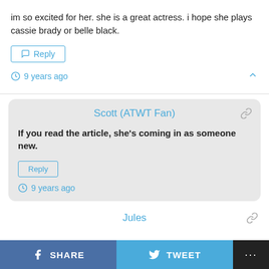im so excited for her. she is a great actress. i hope she plays cassie brady or belle black.
Reply
9 years ago
Scott (ATWT Fan)
If you read the article, she's coming in as someone new.
Reply
9 years ago
Jules
SHARE
TWEET